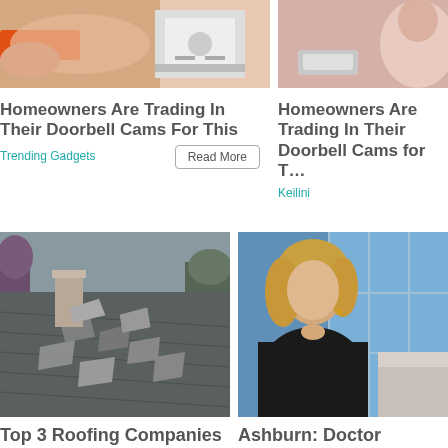[Figure (photo): Hands holding an orange device near an electrical outlet]
Homeowners Are Trading In Their Doorbell Cams For This
Trending Gadgets
[Figure (photo): Person wearing a device on their wrist near an outlet]
Homeowners Are Trading In Their Doorbell Cams for T…
Keilini
[Figure (photo): Damaged roofing shingles on a house]
Top 3 Roofing Companies In Ashburn
Roof Restoration | Sponsored Search
[Figure (photo): Blonde woman sitting on a couch in a TV studio setting]
Ashburn: Doctor Kellyann Says Weight Loss After 60 Comes Down to This
Dr. Kellyann